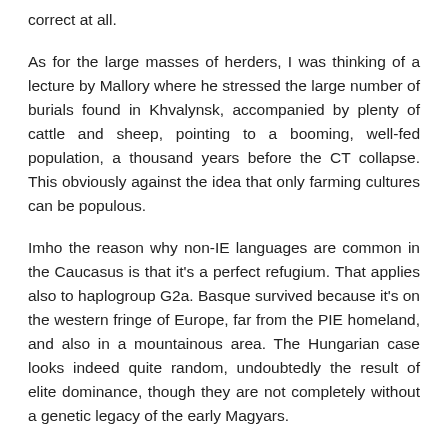correct at all.
As for the large masses of herders, I was thinking of a lecture by Mallory where he stressed the large number of burials found in Khvalynsk, accompanied by plenty of cattle and sheep, pointing to a booming, well-fed population, a thousand years before the CT collapse. This obviously against the idea that only farming cultures can be populous.
Imho the reason why non-IE languages are common in the Caucasus is that it's a perfect refugium. That applies also to haplogroup G2a. Basque survived because it's on the western fringe of Europe, far from the PIE homeland, and also in a mountainous area. The Hungarian case looks indeed quite random, undoubtedly the result of elite dominance, though they are not completely without a genetic legacy of the early Magyars.
Well, David seems to think that the West Asians were peaceful weak matriarchalic farmers, like in Marija Gimbutas' scenario of EEFs, and hence an easy prey for